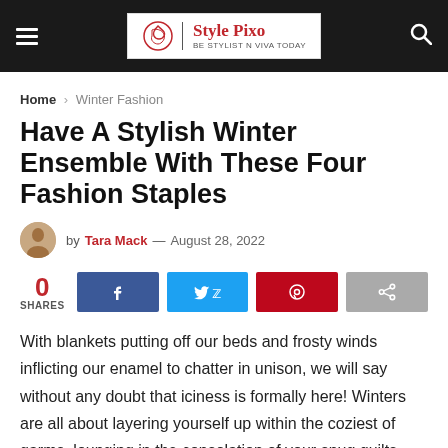Style Pixo — Be Stylist n Viva Today
Home › Winter Fashion
Have A Stylish Winter Ensemble With These Four Fashion Staples
by Tara Mack — August 28, 2022
0 SHARES
With blankets putting off our beds and frosty winds inflicting our enamel to chatter in unison, we will say without any doubt that iciness is formally here! Winters are all about layering yourself up within the coziest of garms, lounging in the consolation of your snug quilts, and